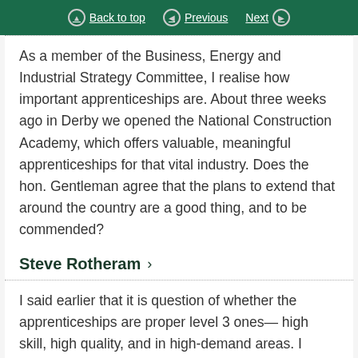Back to top | Previous | Next
As a member of the Business, Energy and Industrial Strategy Committee, I realise how important apprenticeships are. About three weeks ago in Derby we opened the National Construction Academy, which offers valuable, meaningful apprenticeships for that vital industry. Does the hon. Gentleman agree that the plans to extend that around the country are a good thing, and to be commended?
Steve Rotheram
I said earlier that it is question of whether the apprenticeships are proper level 3 ones— high skill, high quality, and in high-demand areas. I would of